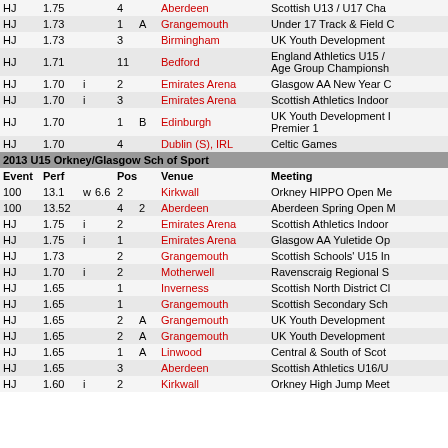| Event | Perf |  |  | Pos |  | Venue | Meeting |
| --- | --- | --- | --- | --- | --- | --- | --- |
| HJ | 1.75 |  |  | 4 |  | Aberdeen | Scottish U13 / U17 Cha... |
| HJ | 1.73 |  |  | 1 | A | Grangemouth | Under 17 Track & Field... |
| HJ | 1.73 |  |  | 3 |  | Birmingham | UK Youth Development... |
| HJ | 1.71 |  |  | 11 |  | Bedford | England Athletics U15 / Age Group Championsh... |
| HJ | 1.70 | i |  | 2 |  | Emirates Arena | Glasgow AA New Year O... |
| HJ | 1.70 | i |  | 3 |  | Emirates Arena | Scottish Athletics Indoor... |
| HJ | 1.70 |  |  | 1 | B | Edinburgh | UK Youth Development... Premier 1 |
| HJ | 1.70 |  |  | 4 |  | Dublin (S), IRL | Celtic Games |
2013 U15 Orkney/Glasgow Sch of Sport
| Event | Perf |  |  | Pos |  | Venue | Meeting |
| --- | --- | --- | --- | --- | --- | --- | --- |
| 100 | 13.1 | w | 6.6 | 2 |  | Kirkwall | Orkney HIPPO Open Me... |
| 100 | 13.52 |  |  | 4 | 2 | Aberdeen | Aberdeen Spring Open... |
| HJ | 1.75 | i |  | 2 |  | Emirates Arena | Scottish Athletics Indoor... |
| HJ | 1.75 | i |  | 1 |  | Emirates Arena | Glasgow AA Yuletide Op... |
| HJ | 1.73 |  |  | 2 |  | Grangemouth | Scottish Schools' U15 In... |
| HJ | 1.70 | i |  | 2 |  | Motherwell | Ravenscraig Regional S... |
| HJ | 1.65 |  |  | 1 |  | Inverness | Scottish North District Cl... |
| HJ | 1.65 |  |  | 1 |  | Grangemouth | Scottish Secondary Sch... |
| HJ | 1.65 |  |  | 2 | A | Grangemouth | UK Youth Development... |
| HJ | 1.65 |  |  | 2 | A | Grangemouth | UK Youth Development... |
| HJ | 1.65 |  |  | 1 | A | Linwood | Central & South of Scot... |
| HJ | 1.65 |  |  | 3 |  | Aberdeen | Scottish Athletics U16/U... |
| HJ | 1.60 | i |  | 2 |  | Kirkwall | Orkney High Jump Meet... |